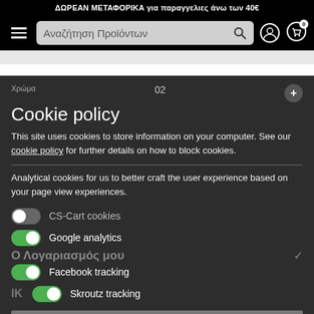ΔΩΡΕΑΝ ΜΕΤΑΦΟΡΙΚΑ για παραγγελιες άνω των 40€
[Figure (screenshot): Navigation bar with hamburger menu, search box labeled 'Αναζήτηση Προϊόντων', search icon, user icon, and cart icon with badge '0']
Cookie policy
This site uses cookies to store information on your computer. See our cookie policy for further details on how to block cookies.
Analytical cookies for us to better craft the user experience based on your page view experiences.
CS-Cart cookies (toggle off)
Google analytics (toggle on)
Facebook tracking (toggle on)
Skroutz tracking (toggle on)
Yes to all
I Agree